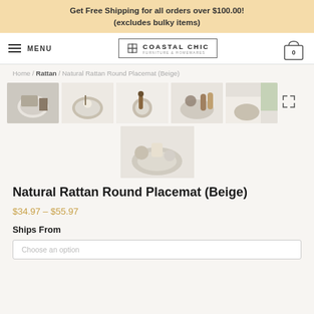Get Free Shipping for all orders over $100.00! (excludes bulky items)
[Figure (logo): Coastal Chic furniture & homewares logo with hamburger menu and shopping cart]
Home / Rattan / Natural Rattan Round Placemat (Beige)
[Figure (photo): Six thumbnail product photos of Natural Rattan Round Placemat (Beige) showing various styled table settings]
Natural Rattan Round Placemat (Beige)
$34.97 – $55.97
Ships From
Choose an option